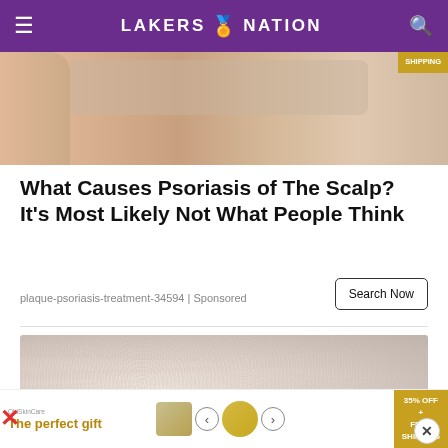LAKERS NATION
[Figure (photo): Partial advertisement image showing a person's neck/shoulder and product images with 'SHIPPING' badge]
What Causes Psoriasis of The Scalp? It’s Most Likely Not What People Think
plaque-psoriasis-treatment-34594 | Sponsored
Search Now
[Figure (photo): Close-up photo of skin showing dry, flaky texture consistent with psoriasis on an arm or elbow]
[Figure (photo): Bottom advertisement banner: 'The perfect gift' with product images and '35% OFF + FREE SHIPPING' badge]